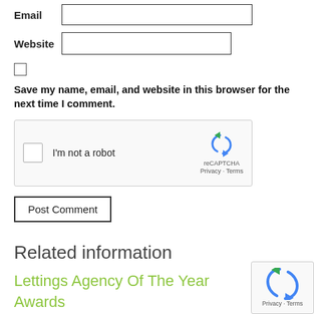Email [input field]
Website [input field]
Save my name, email, and website in this browser for the next time I comment.
[Figure (screenshot): reCAPTCHA widget with checkbox labeled 'I'm not a robot' and reCAPTCHA logo with Privacy and Terms links]
Post Comment
Related information
Lettings Agency Of The Year Awards
[Figure (screenshot): reCAPTCHA logo widget in corner with Privacy · Terms text]